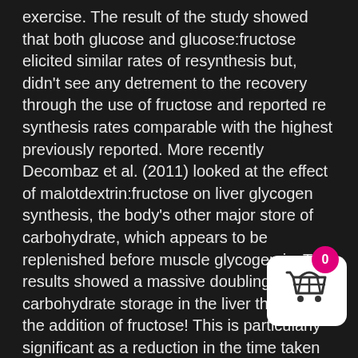exercise. The result of the study showed that both glucose and glucose:fructose elicited similar rates of resynthesis but, didn't see any detrement to the recovery through the use of fructose and reported re synthesis rates comparable with the highest previously reported. More recently Decombaz et al. (2011) looked at the effect of malotdextrin:fructose on liver glycogen synthesis, the body's other major store of carbohydrate, which appears to be replenished before muscle glycogen is. The results showed a massive doubling of carbohydrate storage in the liver through the addition of fructose! This is particularly significant as a reduction in the time taken to replenish the body's stores of carbohydrate could massively aid subsequent performance or training.

It is important to point out that, in order to experience the benefits of using multiple
[Figure (other): Shopping cart icon in a white rounded rectangle with a magenta/pink notification badge showing the number 0]